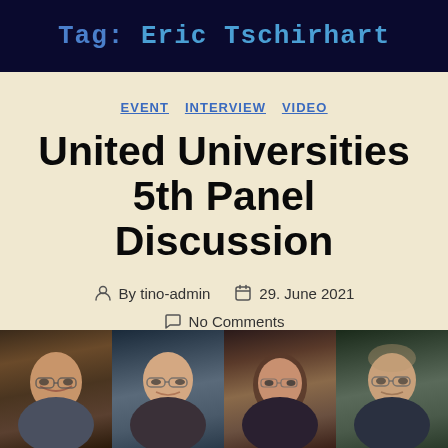Tag: Eric Tschirhart
EVENT  INTERVIEW  VIDEO
United Universities 5th Panel Discussion
By tino-admin   29. June 2021   No Comments
[Figure (photo): Strip of four portrait photos showing panelists for the United Universities 5th Panel Discussion]